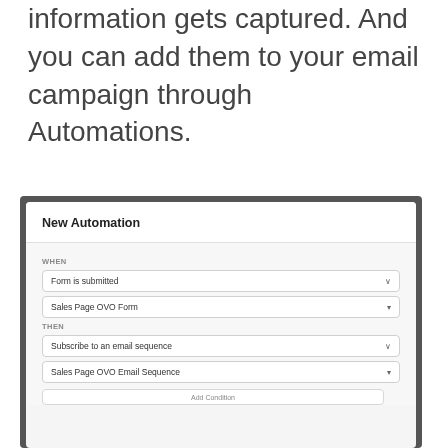information gets captured. And you can add them to your email campaign through Automations.
[Figure (screenshot): Screenshot of a 'New Automation' modal dialog showing WHEN trigger set to 'Form is submitted' with 'Sales Page OVO Form', and THEN action set to 'Subscribe to an email sequence' with 'Sales Page OVO Email Sequence', followed by an Add Condition bar at the bottom.]